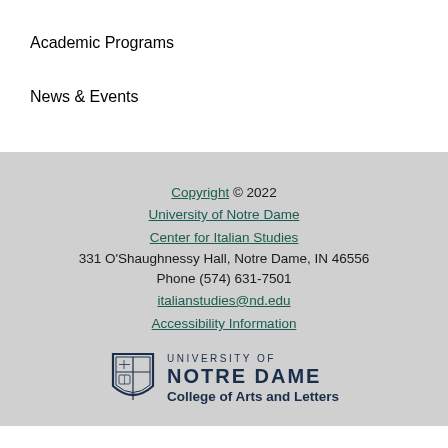Academic Programs
News & Events
Copyright © 2022
University of Notre Dame
Center for Italian Studies
331 O'Shaughnessy Hall, Notre Dame, IN 46556
Phone (574) 631-7501
italianstudies@nd.edu
Accessibility Information
[Figure (logo): University of Notre Dame shield logo with text 'UNIVERSITY OF NOTRE DAME College of Arts and Letters']